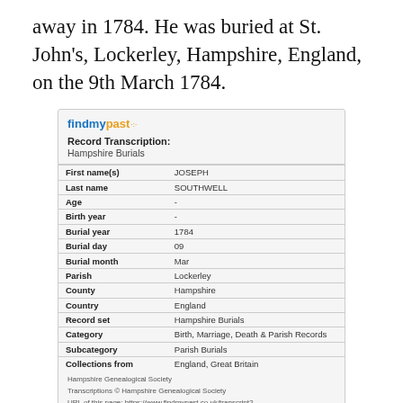away in 1784. He was buried at St. John's, Lockerley, Hampshire, England, on the 9th March 1784.
[Figure (screenshot): findmypast Record Transcription card for Hampshire Burials showing Joseph Southwell burial record]
| Field | Value |
| --- | --- |
| First name(s) | JOSEPH |
| Last name | SOUTHWELL |
| Age | - |
| Birth year | - |
| Burial year | 1784 |
| Burial day | 09 |
| Burial month | Mar |
| Parish | Lockerley |
| County | Hampshire |
| Country | England |
| Record set | Hampshire Burials |
| Category | Birth, Marriage, Death & Parish Records |
| Subcategory | Parish Burials |
| Collections from | England, Great Britain |
Later that year, Catherine gave birth to another baby girl.